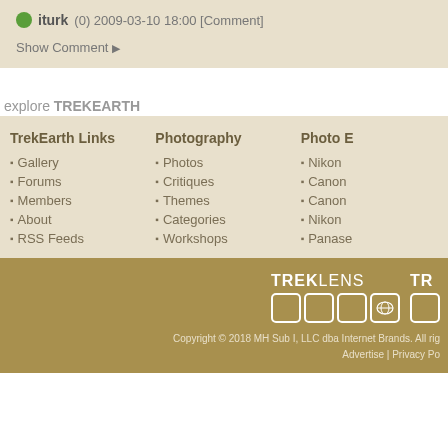iturk (0) 2009-03-10 18:00 [Comment]
Show Comment ▶
explore TREKEARTH
TrekEarth Links
Gallery
Forums
Members
About
RSS Feeds
Photography
Photos
Critiques
Themes
Categories
Workshops
Photo E
Nikon
Canon
Canon
Nikon
Panase
[Figure (logo): TrekLens logo with icon boxes and partial TR logo]
Copyright © 2018 MH Sub I, LLC dba Internet Brands. All rights reserved. Advertise | Privacy Po...